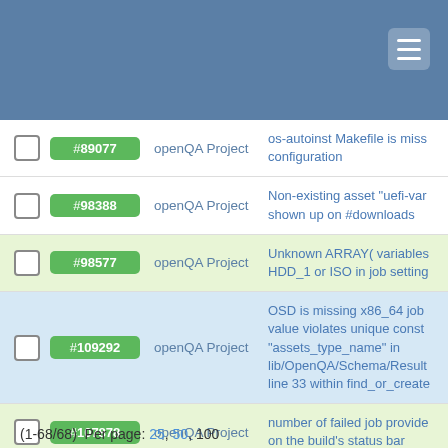openQA issue tracker
|  | ID | Project | Description |
| --- | --- | --- | --- |
| ☐ | #89077 | openQA Project | os-autoinst Makefile is miss configuration |
| ☐ | #98388 | openQA Project | Non-existing asset "uefi-var shown up on #downloads |
| ☐ | #98577 | openQA Project | Unknown ARRAY( variables HDD_1 or ISO in job setting |
| ☐ | #109292 | openQA Project | OSD is missing x86_64 job value violates unique const "assets_type_name" in lib/OpenQA/Schema/Result line 33 within find_or_create |
| ☐ | #107878 | openQA Project | number of failed job provide on the build's status bar |
(1-68/68)  Per page: 25, 50, 100